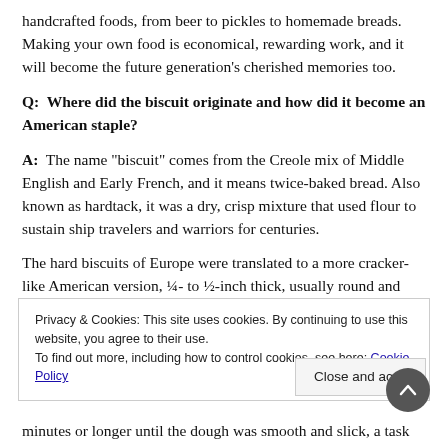handcrafted foods, from beer to pickles to homemade breads. Making your own food is economical, rewarding work, and it will become the future generation's cherished memories too.
Q:  Where did the biscuit originate and how did it become an American staple?
A:  The name “biscuit” comes from the Creole mix of Middle English and Early French, and it means twice-baked bread. Also known as hardtack, it was a dry, crisp mixture that used flour to sustain ship travelers and warriors for centuries.
The hard biscuits of Europe were translated to a more cracker-like American version, ¼- to ½-inch thick, usually round and
Privacy & Cookies: This site uses cookies. By continuing to use this website, you agree to their use.
To find out more, including how to control cookies, see here: Cookie Policy
Close and acce...
minutes or longer until the dough was smooth and slick, a task